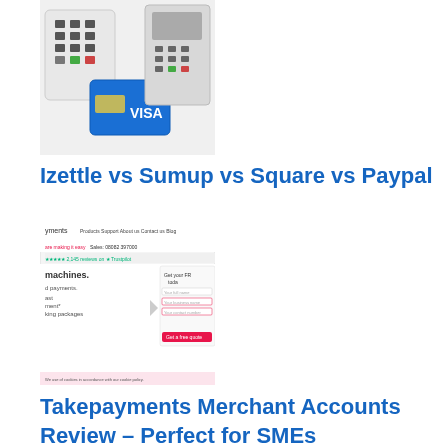[Figure (photo): Photo of card payment terminals and a Visa credit card]
Izettle vs Sumup vs Square vs Paypal
[Figure (screenshot): Screenshot of Takepayments website showing card machines and a free quote form]
Takepayments Merchant Accounts Review – Perfect for SMEs